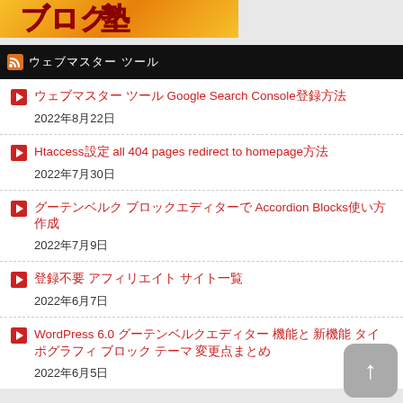[Figure (logo): Banner with Japanese/Thai blog logo in red text on orange/yellow gradient background]
RSS feed header bar with Japanese text
ウェブマスター ツール Google Search Console登録方法 2022年8月22日
Htaccess設定 all 404 pages redirect to homepage方法 2022年7月30日
グーテンベルク ブロックエディターで Accordion Blocks使い方作成 2022年7月9日
登録不要 アフィリエイト サイト一覧 2022年6月7日
WordPress 6.0 グーテンベルクエディター 機能と 新機能 タイポグラフィ ブロック テーマ 変更点まとめ 2022年6月5日